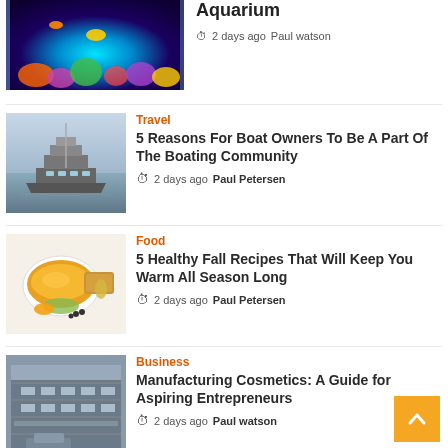[Figure (photo): Colorful aquarium with corals and fish, partial view at top]
Aquarium
2 days ago  Paul watson
[Figure (photo): Large luxury yacht on the water]
Travel
5 Reasons For Boat Owners To Be A Part Of The Boating Community
2 days ago  Paul Petersen
[Figure (photo): Bowl of orange soup with bread and garnish, food photography]
Food
5 Healthy Fall Recipes That Will Keep You Warm All Season Long
2 days ago  Paul Petersen
[Figure (photo): Industrial building with cars, business-related image]
Business
Manufacturing Cosmetics: A Guide for Aspiring Entrepreneurs
2 days ago  Paul watson